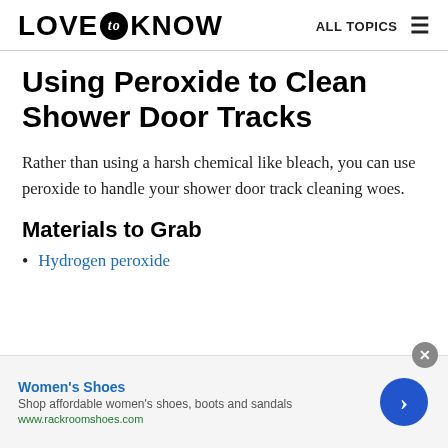LOVE to KNOW  ALL TOPICS
Using Peroxide to Clean Shower Door Tracks
Rather than using a harsh chemical like bleach, you can use peroxide to handle your shower door track cleaning woes.
Materials to Grab
Hydrogen peroxide